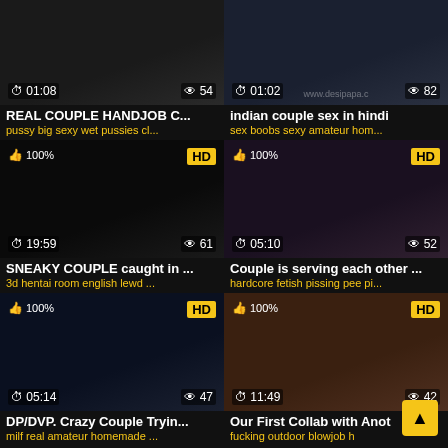[Figure (screenshot): Video thumbnail grid showing adult video listing page with 6 video cards in 2 columns]
REAL COUPLE HANDJOB C...
pussy big sexy wet pussies cl...
indian couple sex in hindi
sex boobs sexy amateur hom...
SNEAKY COUPLE caught in ...
3d hentai room english lewd ...
Couple is serving each other ...
hardcore fetish pissing pee pi...
DP/DVP. Crazy Couple Tryin...
milf real amateur homemade ...
Our First Collab with Anot
fucking outdoor blowjob h